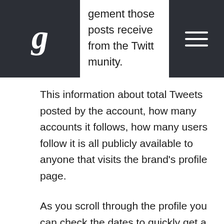gement those posts receive from the Twitter community.
This information about total Tweets posted by the account, how many accounts it follows, how many users follow it is all publicly available to anyone that visits the brand's profile page.
As you scroll through the profile you can check the dates to quickly get a sense of how often something is posted to Twitter by this account. You can also quickly skim to understand if they post a lot of links, photos, or video. In the case of Chameleon, they tend to post every one to two days, mostly photos and videos.